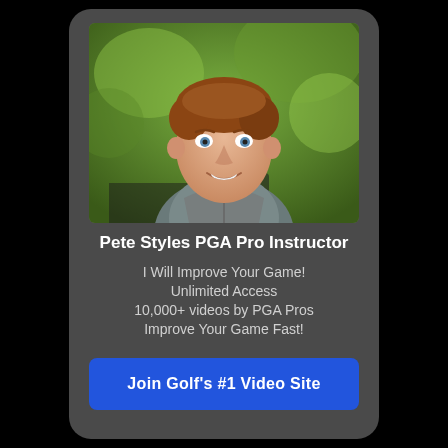[Figure (photo): Headshot photo of Pete Styles, a man with short reddish-brown hair wearing a grey zip-up jacket, smiling, outdoors with green blurred background]
Pete Styles PGA Pro Instructor
I Will Improve Your Game!
Unlimited Access
10,000+ videos by PGA Pros
Improve Your Game Fast!
Join Golf's #1 Video Site